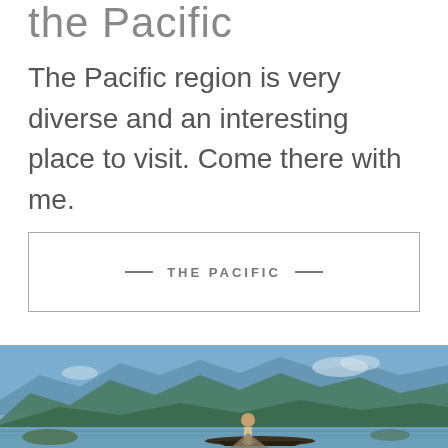the Pacific
The Pacific region is very diverse and an interesting place to visit.  Come there with me.
— THE PACIFIC —
[Figure (photo): A fisherman standing on a traditional wooden boat on a lake, balancing with a large conical fishing net, with green mountain ranges and blue sky in the background.]